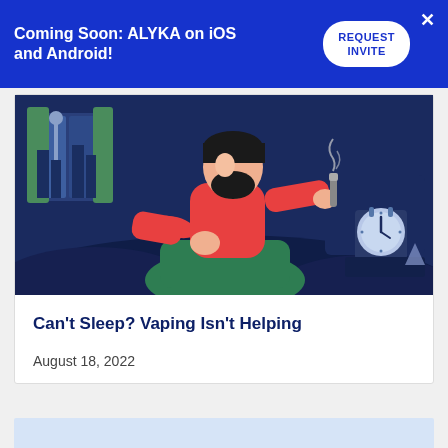Coming Soon: ALYKA on iOS and Android!
[Figure (illustration): Animated illustration of a bearded man in a red shirt sitting up in bed at night holding a vaping device, with a clock on the nightstand, dark blue bedroom background]
Can't Sleep? Vaping Isn't Helping
August 18, 2022